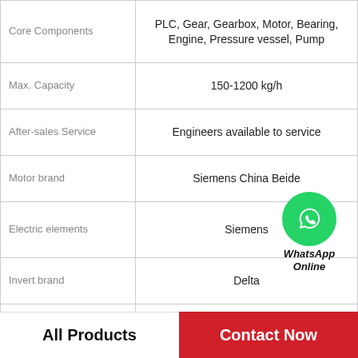| Specification | Value |
| --- | --- |
| Core Components | PLC, Gear, Gearbox, Motor, Bearing, Engine, Pressure vessel, Pump |
| Max. Capacity | 150-1200 kg/h |
| After-sales Service | Engineers available to service |
| Motor brand | Siemens China Beide |
| Electric elements | Siemens |
| Invert brand | Delta |
| Machine material | Stainless Steel 304 |
| Screw material | 38CrMoAL |
[Figure (logo): WhatsApp Online contact bubble with green phone icon and bold italic text 'WhatsApp Online']
All Products
Contact Now